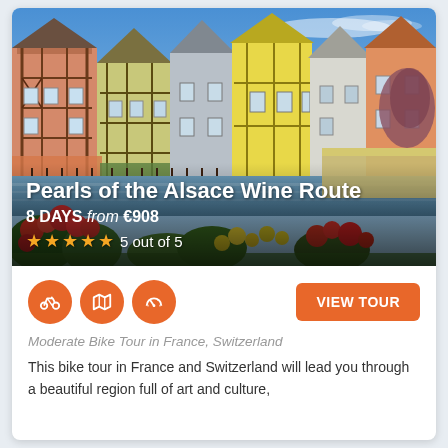[Figure (photo): Colorful half-timbered buildings along a canal in Alsace, France, with red flowers in the foreground and blue sky above]
Pearls of the Alsace Wine Route
8 DAYS from €908
5 out of 5
VIEW TOUR
Moderate Bike Tour in France, Switzerland
This bike tour in France and Switzerland will lead you through a beautiful region full of art and culture,